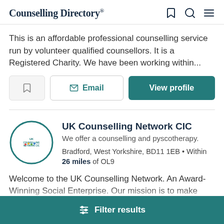Counselling Directory
This is an affordable professional counselling service run by volunteer qualified counsellors. It is a Registered Charity. We have been working within...
UK Counselling Network CIC
We offer a counselling and pyscotherapy.
Bradford, West Yorkshire, BD11 1EB • Within 26 miles of OL9
Welcome to the UK Counselling Network. An Award-Winning Social Enterprise. Our mission is to make quality therapy...
Filter results